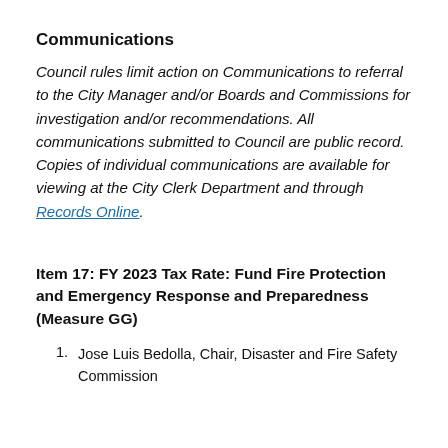Communications
Council rules limit action on Communications to referral to the City Manager and/or Boards and Commissions for investigation and/or recommendations. All communications submitted to Council are public record. Copies of individual communications are available for viewing at the City Clerk Department and through Records Online.
Item 17: FY 2023 Tax Rate: Fund Fire Protection and Emergency Response and Preparedness (Measure GG)
Jose Luis Bedolla, Chair, Disaster and Fire Safety Commission